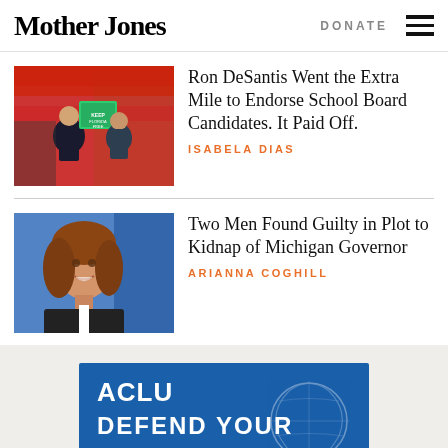Mother Jones | DONATE
[Figure (photo): Photo of Ron DeSantis at a rally with supporters holding signs reading 'Keep Florida Free']
Ron DeSantis Went the Extra Mile to Endorse School Board Candidates. It Paid Off.
ISABELA DIAS
[Figure (photo): Portrait photo of a woman with brown hair smiling, blue background (Michigan Governor Gretchen Whitmer)]
Two Men Found Guilty in Plot to Kidnap of Michigan Governor
ARIANNA COGHILL
[Figure (other): ACLU advertisement banner on beige background reading 'DEFEND YOUR' with ACLU logo and a graphic illustration]